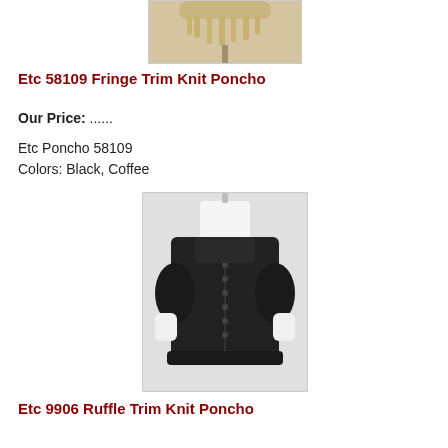[Figure (photo): Cropped bottom portion of a fringe trim knit poncho on a mannequin stand, beige/cream color with macramé and fringe details]
Etc 58109 Fringe Trim Knit Poncho
Our Price: ......
Etc Poncho 58109
Colors: Black, Coffee
[Figure (photo): Black ruffle trim knit poncho displayed on a white mannequin torso, button-front style with ruffled sleeves and hem details]
Etc 9906 Ruffle Trim Knit Poncho